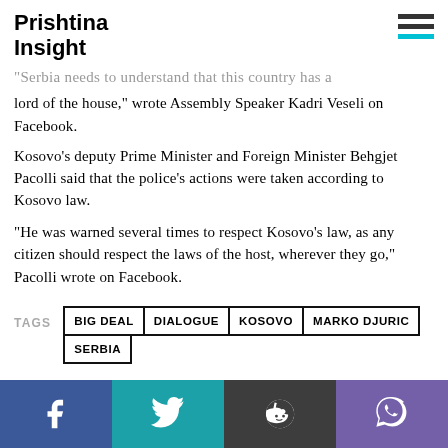Prishtina Insight
"Serbia needs to understand that this country has a lord of the house," wrote Assembly Speaker Kadri Veseli on Facebook.
Kosovo's deputy Prime Minister and Foreign Minister Behgjet Pacolli said that the police's actions were taken according to Kosovo law.
"He was warned several times to respect Kosovo's law, as any citizen should respect the laws of the host, wherever they go," Pacolli wrote on Facebook.
TAGS: BIG DEAL, DIALOGUE, KOSOVO, MARKO DJURIC, SERBIA